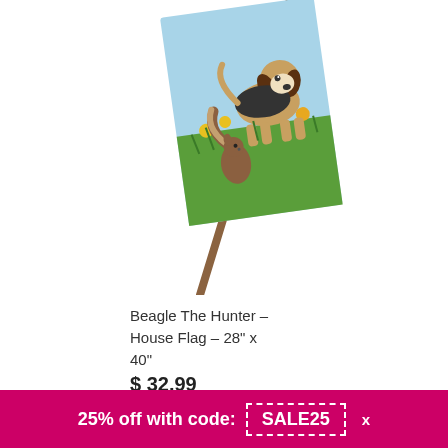[Figure (photo): A decorative house flag showing a beagle dog with a squirrel in a grassy outdoor scene with flowers and blue sky, hung on a wooden flag pole at an angle.]
Beagle The Hunter – House Flag – 28" x 40"
$ 32.99
Add to cart
Help
25% off with code: SALE25 x